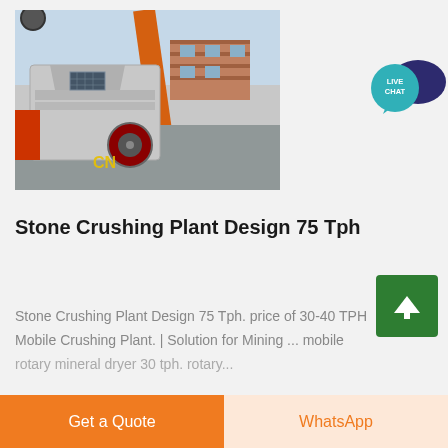[Figure (photo): A large grey stone crushing machine (impact crusher) with orange crane/arm visible, sitting in an industrial yard. Yellow 'CN' watermark visible on the machine.]
[Figure (other): Live Chat speech bubble icon: teal circle with 'LIVE CHAT' text, and a dark blue speech bubble behind it.]
Stone Crushing Plant Design 75 Tph
Stone Crushing Plant Design 75 Tph. price of 30-40 TPH Mobile Crushing Plant. | Solution for Mining ... mobile rotary mineral dryer 30 tph. rotary...
Get a Quote
WhatsApp